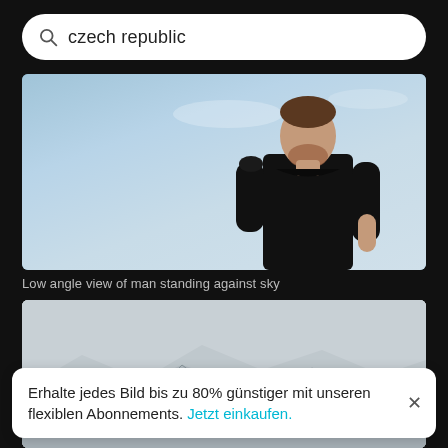czech republic
[Figure (photo): Low angle photograph of a bearded man in a black t-shirt standing against a light blue sky, shot from below]
Low angle view of man standing against sky
[Figure (photo): Misty landscape photo showing mountain peaks partially obscured by fog/clouds with a light grey sky]
Erhalte jedes Bild bis zu 80% günstiger mit unseren flexiblen Abonnements. Jetzt einkaufen.